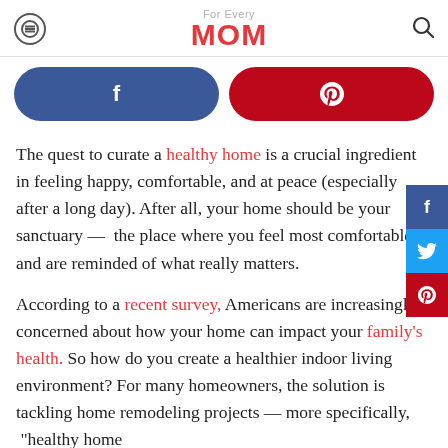For Every MOM
[Figure (other): Social share buttons: Facebook (blue pill button) and Pinterest (red pill button)]
The quest to curate a healthy home is a crucial ingredient in feeling happy, comfortable, and at peace (especially after a long day). After all, your home should be your sanctuary — the place where you feel most comfortable and are reminded of what really matters.
According to a recent survey, Americans are increasingly concerned about how your home can impact your family's health. So how do you create a healthier indoor living environment? For many homeowners, the solution is tackling home remodeling projects — more specifically, "healthy home